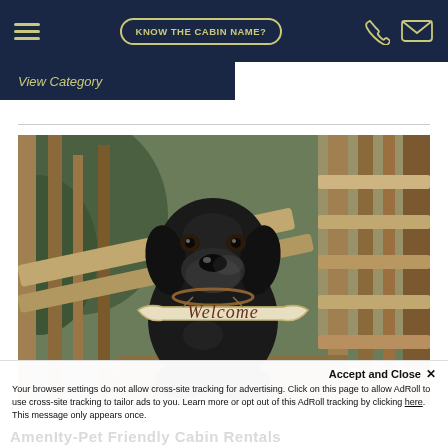KNOW THE CABIN NAME?
View Category
[Figure (photo): A black Labrador/Great Dane puppy sitting on wooden deck steps, wearing a decorative 'Welcome' sign around its neck. Wooden railing and green foliage visible in background.]
Accept and Close ✕
Your browser settings do not allow cross-site tracking for advertising. Click on this page to allow AdRoll to use cross-site tracking to tailor ads to you. Learn more or opt out of this AdRoll tracking by clicking here. This message only appears once.
AmenIty-Pet Friendly Cabin Rentals